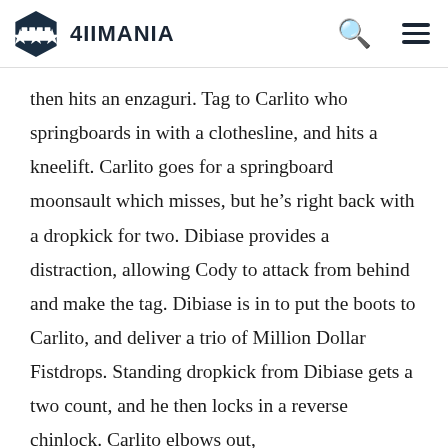4IIMANIA
then hits an enzaguri. Tag to Carlito who springboards in with a clothesline, and hits a kneelift. Carlito goes for a springboard moonsault which misses, but he's right back with a dropkick for two. Dibiase provides a distraction, allowing Cody to attack from behind and make the tag. Dibiase is in to put the boots to Carlito, and deliver a trio of Million Dollar Fistdrops. Standing dropkick from Dibiase gets a two count, and he then locks in a reverse chinlock. Carlito elbows out, and goes for a hiptoss which is countered by Dibiase. He kicks Primo off the apron, and